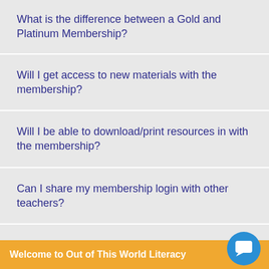What is the difference between a Gold and Platinum Membership?
Will I get access to new materials with the membership?
Will I be able to download/print resources in with the membership?
Can I share my membership login with other teachers?
Why wouldn't a teacher in grades 2-6 become a member?
Welcome to Out of This World Literacy